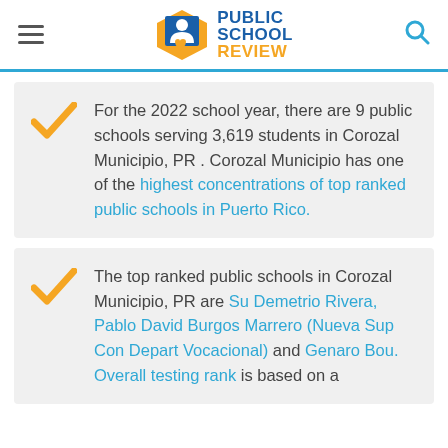Public School Review EST. 2003
For the 2022 school year, there are 9 public schools serving 3,619 students in Corozal Municipio, PR . Corozal Municipio has one of the highest concentrations of top ranked public schools in Puerto Rico.
The top ranked public schools in Corozal Municipio, PR are Su Demetrio Rivera, Pablo David Burgos Marrero (Nueva Sup Con Depart Vocacional) and Genaro Bou. Overall testing rank is based on a